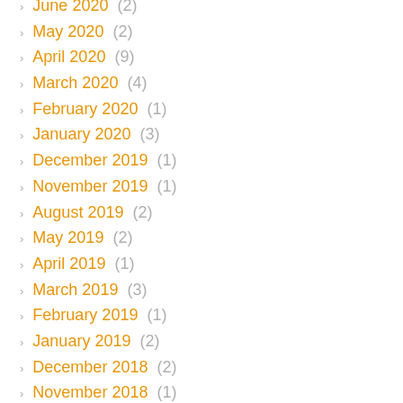June 2020 (2)
May 2020 (2)
April 2020 (9)
March 2020 (4)
February 2020 (1)
January 2020 (3)
December 2019 (1)
November 2019 (1)
August 2019 (2)
May 2019 (2)
April 2019 (1)
March 2019 (3)
February 2019 (1)
January 2019 (2)
December 2018 (2)
November 2018 (1)
October 2018 (6)
September 2018 (2)